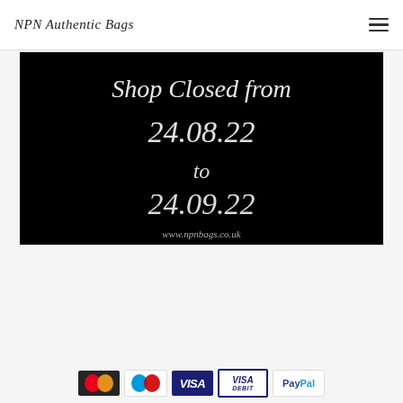NPN Authentic Bags
[Figure (photo): Black background image with white cursive/script text reading 'Shop Closed from 24.08.22 to 24.09.22' and website URL 'www.npnbags.co.uk' at the bottom]
[Figure (logo): Row of payment method logos: Mastercard, Maestro, Visa, Visa Debit, PayPal]